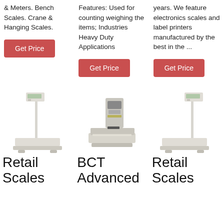& Meters. Bench Scales. Crane & Hanging Scales.
Features: Used for counting weighing the items; Industries Heavy Duty Applications
years. We feature electronics scales and label printers manufactured by the best in the ...
Get Price
Get Price
Get Price
[Figure (photo): Retail bench scale with pole-mounted digital display]
[Figure (photo): BCT Advanced label printing scale with integrated printer unit]
[Figure (photo): Retail bench scale with pole-mounted digital display, second unit]
Retail
Scales
BCT
Advanced
Retail
Scales